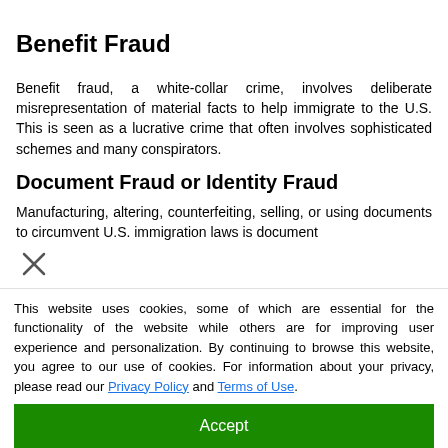Benefit Fraud
Benefit fraud, a white-collar crime, involves deliberate misrepresentation of material facts to help immigrate to the U.S. This is seen as a lucrative crime that often involves sophisticated schemes and many conspirators.
Document Fraud or Identity Fraud
Manufacturing, altering, counterfeiting, selling, or using documents to circumvent U.S. immigration laws is document
This website uses cookies, some of which are essential for the functionality of the website while others are for improving user experience and personalization. By continuing to browse this website, you agree to our use of cookies. For information about your privacy, please read our Privacy Policy and Terms of Use.
Accept